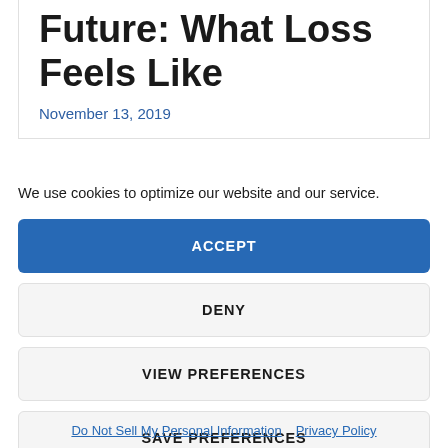Future: What Loss Feels Like
November 13, 2019
We use cookies to optimize our website and our service.
ACCEPT
DENY
VIEW PREFERENCES
SAVE PREFERENCES
Do Not Sell My Personal Information   Privacy Policy